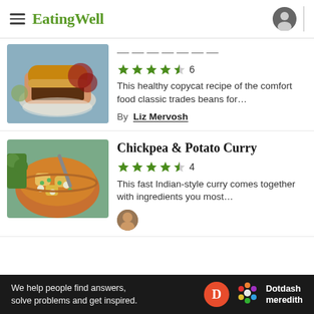EatingWell
[Figure (photo): Photo of a sloppy joe sandwich on a plate with grapes]
This healthy copycat recipe of the comfort food classic trades beans for…
By Liz Mervosh
[Figure (photo): Photo of chickpea and potato curry in a bowl with a spoon]
Chickpea & Potato Curry
4.5 stars, 4 ratings
This fast Indian-style curry comes together with ingredients you most…
[Figure (photo): Author avatar photo]
We help people find answers, solve problems and get inspired. Dotdash meredith